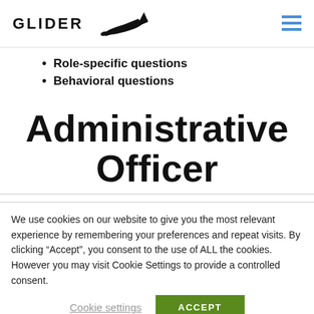GLIDER
Role-specific questions
Behavioral questions
Administrative Officer
We use cookies on our website to give you the most relevant experience by remembering your preferences and repeat visits. By clicking “Accept”, you consent to the use of ALL the cookies. However you may visit Cookie Settings to provide a controlled consent.